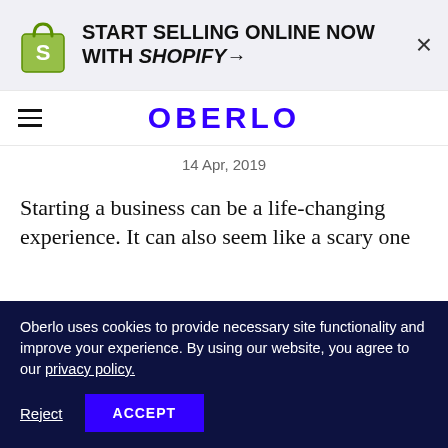[Figure (logo): Shopify promotional banner with Shopify bag logo and text 'START SELLING ONLINE NOW WITH SHOPIFY →' and a close (×) button]
OBERLO
14 Apr, 2019
Starting a business can be a life-changing experience. It can also seem like a scary one
Oberlo uses cookies to provide necessary site functionality and improve your experience. By using our website, you agree to our privacy policy.
Reject   ACCEPT